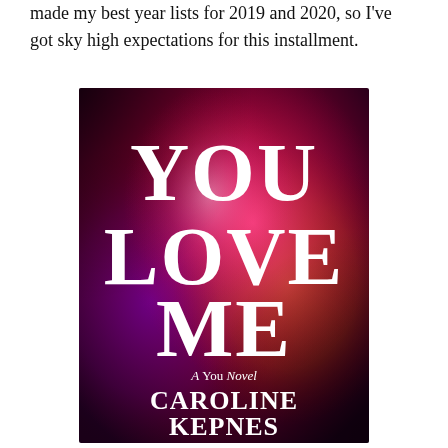made my best year lists for 2019 and 2020, so I've got sky high expectations for this installment.
[Figure (illustration): Book cover for 'You Love Me: A You Novel' by Caroline Kepnes. Dark background with vibrant purple, red, pink, and orange bokeh gradient lighting. Large white serif text reads 'YOU LOVE ME' with 'A You Novel' in smaller text below, followed by 'CAROLINE KEPNES' in large serif caps, and 'New York Times bestselling author' at the bottom.]